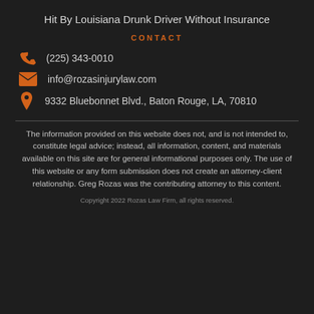Hit By Louisiana Drunk Driver Without Insurance
CONTACT
(225) 343-0010
info@rozasinjurylaw.com
9332 Bluebonnet Blvd., Baton Rouge, LA, 70810
The information provided on this website does not, and is not intended to, constitute legal advice; instead, all information, content, and materials available on this site are for general informational purposes only. The use of this website or any form submission does not create an attorney-client relationship. Greg Rozas was the contributing attorney to this content.
Copyright 2022 Rozas Law Firm, all rights reserved.